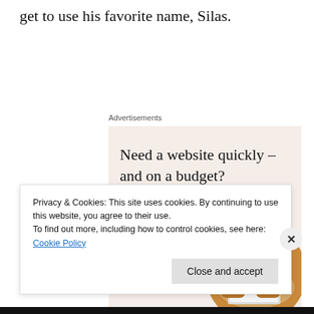get to use his favorite name, Silas.
Advertisements
[Figure (infographic): Advertisement banner with beige background. Headline: 'Need a website quickly – and on a budget?' Subline: 'Let us build it for you'. Button: 'Let's get started'. Circular photo of person typing on a laptop.]
Privacy & Cookies: This site uses cookies. By continuing to use this website, you agree to their use.
To find out more, including how to control cookies, see here: Cookie Policy
Close and accept